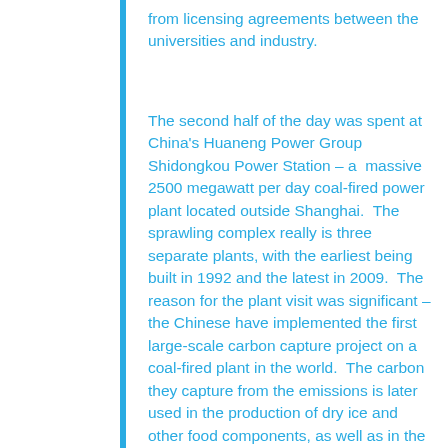from licensing agreements between the universities and industry.
The second half of the day was spent at China's Huaneng Power Group Shidongkou Power Station – a massive 2500 megawatt per day coal-fired power plant located outside Shanghai. The sprawling complex really is three separate plants, with the earliest being built in 1992 and the latest in 2009. The reason for the plant visit was significant – the Chinese have implemented the first large-scale carbon capture project on a coal-fired plant in the world. The carbon they capture from the emissions is later used in the production of dry ice and other food components, as well as in the construction industry. What is most impressive is China